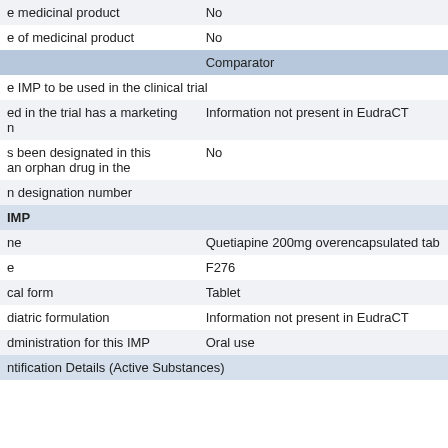| e medicinal product | No |
| e of medicinal product | No |
| [blue header row - empty] | Comparator |
| e IMP to be used in the clinical trial |  |
| ed in the trial has a marketing authorization | Information not present in EudraCT |
| s been designated in this indication as an orphan drug in the | No |
| n designation number |  |
| IMP |  |
| ne | Quetiapine 200mg overencapsulated tab |
| e | F276 |
| cal form | Tablet |
| diatric formulation | Information not present in EudraCT |
| dministration for this IMP | Oral use |
| ntification Details (Active Substances) |  |